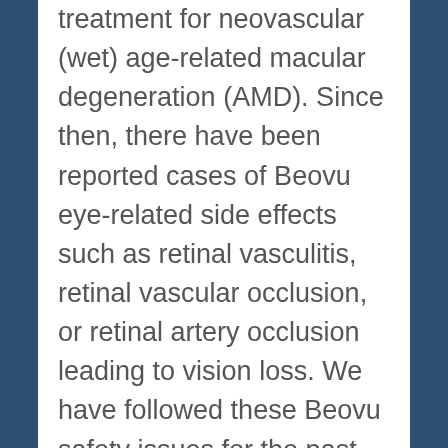treatment for neovascular (wet) age-related macular degeneration (AMD). Since then, there have been reported cases of Beovu eye-related side effects such as retinal vasculitis, retinal vascular occlusion, or retinal artery occlusion leading to vision loss. We have followed these Beovu safety issues for the past two years, and we will continue to watch for further developments concerning Beovu eye-related side effects such as retinal vasculitis, retinal vascular occlusion, and retinal artery occlusion.